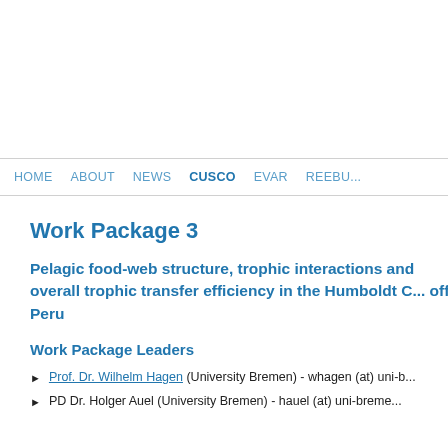HOME   ABOUT   NEWS   CUSCO   EVAR   REEBU...
Work Package 3
Pelagic food-web structure, trophic interactions and overall trophic transfer efficiency in the Humboldt Current off Peru
Work Package Leaders
Prof. Dr. Wilhelm Hagen (University Bremen) - whagen (at) uni-b...
PD Dr. Holger Auel (University Bremen) - hauel (at) uni-breme...